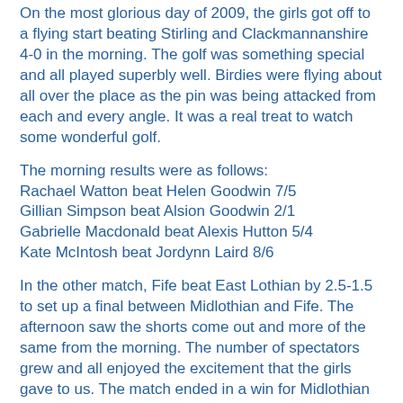On the most glorious day of 2009, the girls got off to a flying start beating Stirling and Clackmannanshire 4-0 in the morning. The golf was something special and all played superbly well. Birdies were flying about all over the place as the pin was being attacked from each and every angle. It was a real treat to watch some wonderful golf.
The morning results were as follows:
Rachael Watton beat Helen Goodwin 7/5
Gillian Simpson beat Alsion Goodwin 2/1
Gabrielle Macdonald beat Alexis Hutton 5/4
Kate McIntosh beat Jordynn Laird 8/6
In the other match, Fife beat East Lothian by 2.5-1.5 to set up a final between Midlothian and Fife. The afternoon saw the shorts come out and more of the same from the morning. The number of spectators grew and all enjoyed the excitement that the girls gave to us. The match ended in a win for Midlothian by 3 games to 1.
The afternoon results were as follows:
Rachael beat Rachael Hanlon 6/5
Gillian beat Sam Munro 4/3
Gabrielle beat Nicola Taylor 6/4